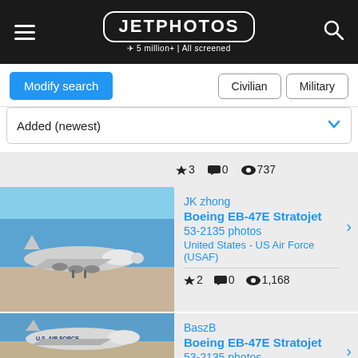JETPHOTOS — 5 million+ | All screened
Modify search | Civilian | Military
Added (newest)
★ 3  💬 0  👁 737
[Figure (photo): Boeing EB-47E Stratojet aircraft on tarmac, desert background, blue sky]
JK zhong
Boeing EB-47E Stratojet
53-2135 photos
United States - US Air Force (USAF)
★ 2  💬 0  👁 1,168
[Figure (photo): Boeing EB-47E Stratojet aircraft on tarmac with U.S. AIR FORCE markings, blue sky]
BaszB
Boeing EB-47E Stratojet
53-2135 photos